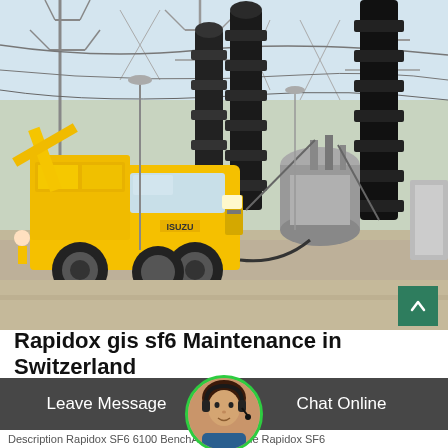[Figure (photo): Photograph of a yellow Isuzu utility/maintenance truck parked at a high-voltage electrical substation with large black insulators and transmission towers in the background.]
Rapidox gis sf6 Maintenance in Switzerland
Leave Message
Chat Online
Description Rapidox SF6 6100 BenchAnalyser. The Rapidox SF6